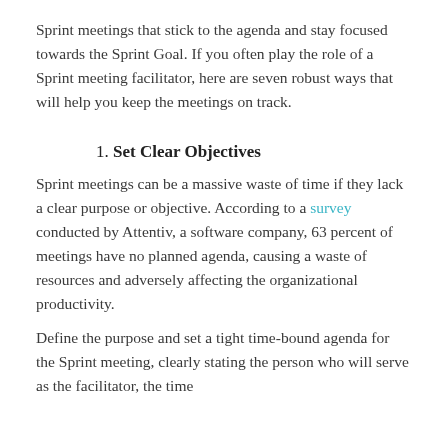Sprint meetings that stick to the agenda and stay focused towards the Sprint Goal. If you often play the role of a Sprint meeting facilitator, here are seven robust ways that will help you keep the meetings on track.
1. Set Clear Objectives
Sprint meetings can be a massive waste of time if they lack a clear purpose or objective. According to a survey conducted by Attentiv, a software company, 63 percent of meetings have no planned agenda, causing a waste of resources and adversely affecting the organizational productivity.
Define the purpose and set a tight time-bound agenda for the Sprint meeting, clearly stating the person who will serve as the facilitator, the time